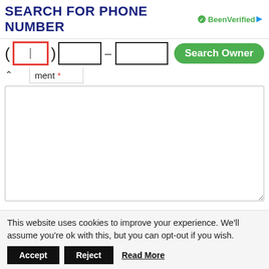[Figure (screenshot): BeenVerified phone number search advertisement banner with input fields for area code, prefix, and line number, plus a green Search Owner button]
Comment *
[Figure (screenshot): Large comment textarea input box]
Name *
This website uses cookies to improve your experience. We'll assume you're ok with this, but you can opt-out if you wish.
Accept
Reject
Read More